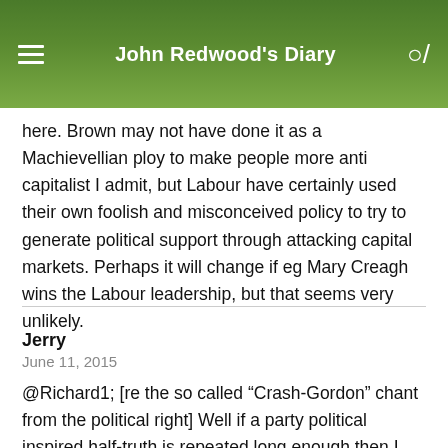John Redwood's Diary
here. Brown may not have done it as a Machievellian ploy to make people more anti capitalist I admit, but Labour have certainly used their own foolish and misconceived policy to try to generate political support through attacking capital markets. Perhaps it will change if eg Mary Creagh wins the Labour leadership, but that seems very unlikely.
Jerry
June 11, 2015
@Richard1; [re the so called “Crash-Gordon” chant from the political right] Well if a party political inspired half-truth is repeated long enough then I suppose it stands an evens chance of being mistaken as the one and only ‘full fact’...